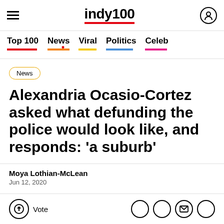indy100
Top 100 | News | Viral | Politics | Celeb
News
Alexandria Ocasio-Cortez asked what defunding the police would look like, and responds: 'a suburb'
Moya Lothian-McLean
Jun 12, 2020